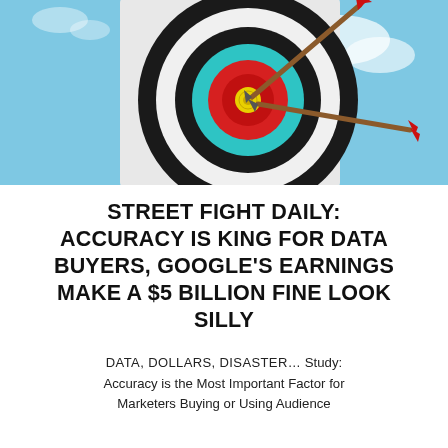[Figure (photo): Archery target with two arrows hitting near the bullseye, on a blue sky background. The target has concentric rings in black, white, teal/blue, red, and yellow at center.]
STREET FIGHT DAILY: ACCURACY IS KING FOR DATA BUYERS, GOOGLE'S EARNINGS MAKE A $5 BILLION FINE LOOK SILLY
DATA, DOLLARS, DISASTER… Study: Accuracy is the Most Important Factor for Marketers Buying or Using Audience